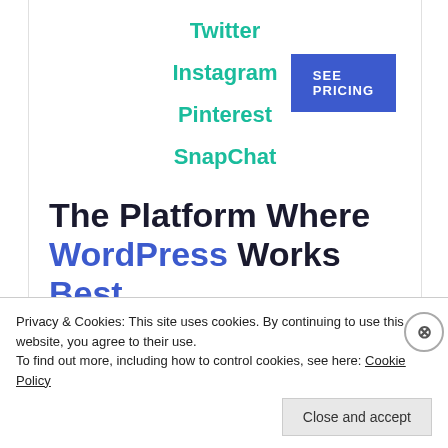Twitter
Instagram
Pinterest
SnapChat
The Platform Where WordPress Works Best
[Figure (other): SEE PRICING button in blue]
Privacy & Cookies: This site uses cookies. By continuing to use this website, you agree to their use.
To find out more, including how to control cookies, see here: Cookie Policy
Close and accept